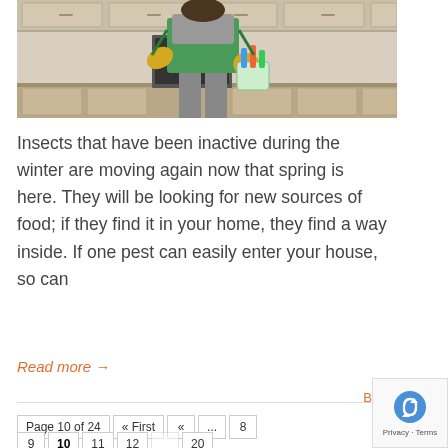[Figure (photo): Person in green apron and yellow gloves seen from behind, holding a bucket of cleaning supplies in a kitchen]
Insects that have been inactive during the winter are moving again now that spring is here. They will be looking for new sources of food; if they find it in your home, they find a way inside. If one pest can easily enter your house, so can
Read more →
Back to Top
Page 10 of 24  « First  «  ...  8  9  10  11  12  20